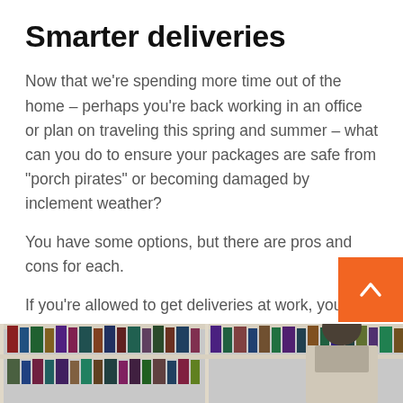Smarter deliveries
Now that we’re spending more time out of the home – perhaps you’re back working in an office or plan on traveling this spring and summer – what can you do to ensure your packages are safe from “porch pirates” or becoming damaged by inclement weather?
You have some options, but there are pros and cons for each.
If you’re allowed to get deliveries at work, you might consider it for some extra peace of mind. OK, that’s not so convenient for groceries that include fresh or frozen foods.
[Figure (photo): Photo of a person seated at a desk with bookshelves in the background, partially visible at the bottom of the page.]